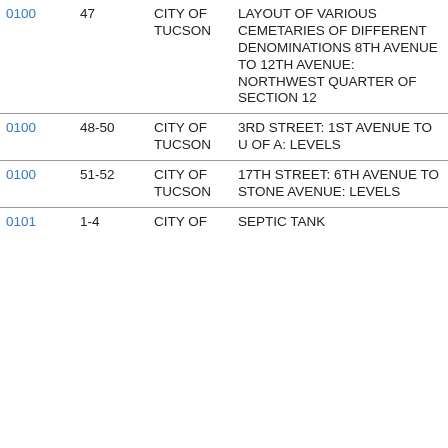| Code | Pages | Location | Description |
| --- | --- | --- | --- |
| 0100 | 47 | CITY OF TUCSON | LAYOUT OF VARIOUS CEMETARIES OF DIFFERENT DENOMINATIONS 8TH AVENUE TO 12TH AVENUE: NORTHWEST QUARTER OF SECTION 12 |
| 0100 | 48-50 | CITY OF TUCSON | 3RD STREET: 1ST AVENUE TO U OF A: LEVELS |
| 0100 | 51-52 | CITY OF TUCSON | 17TH STREET: 6TH AVENUE TO STONE AVENUE: LEVELS |
| 0101 | 1-4 | CITY OF | SEPTIC TANK |